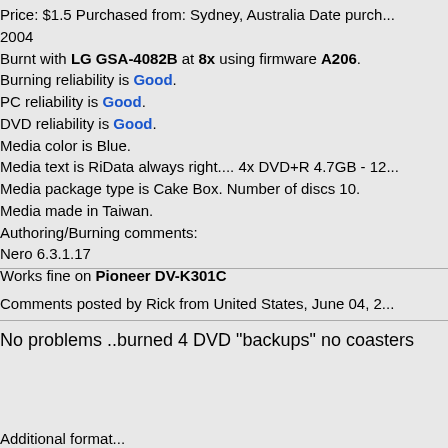Price: $1.5 Purchased from: Sydney, Australia Date purch... 2004
Burnt with LG GSA-4082B at 8x using firmware A206.
Burning reliability is Good.
PC reliability is Good.
DVD reliability is Good.
Media color is Blue.
Media text is RiData always right.... 4x DVD+R 4.7GB - 12...
Media package type is Cake Box. Number of discs 10.
Media made in Taiwan.
Authoring/Burning comments:
Nero 6.3.1.17
Works fine on Pioneer DV-K301C
Comments posted by Rick from United States, June 04, 2...
No problems ..burned 4 DVD "backups" no coasters
Additional format...